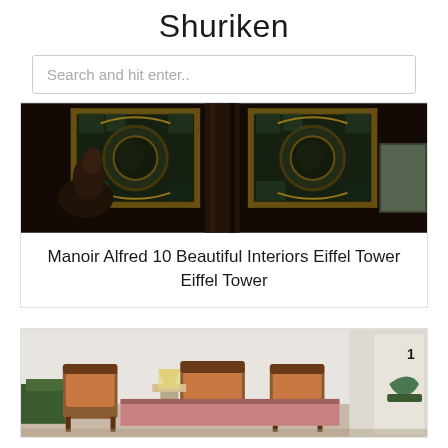Shuriken
Search and hit enter..
[Figure (photo): Interior photograph showing ornate stained glass windows with circular medallion designs framed in dark wood, with decorative columns and a partial figure visible in the foreground]
Manoir Alfred 10 Beautiful Interiors Eiffel Tower Eiffel Tower
[Figure (photo): Interior photograph of a bedroom with vintage wooden furniture including chairs and a bed frame, a lamp on a side table, with a number '1' visible on the right wall]